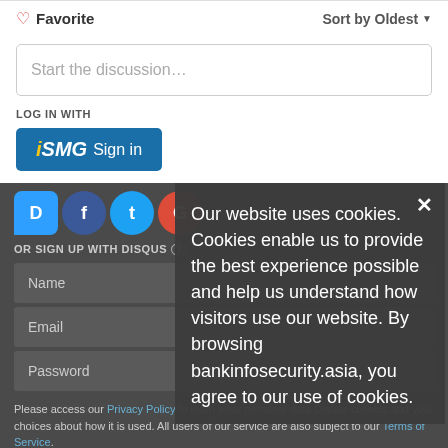♡ Favorite
Sort by Oldest ▼
Start the discussion…
LOG IN WITH
[Figure (logo): iSMG Sign in button - blue rounded rectangle with iSMG logo and Sign in text]
OR SIGN UP WITH DISQUS (?)
Name
Email
Password
Please access our Privacy Policy to learn what personal data Disqus collects and your choices about how it is used. All users of our service are also subject to our Terms of Service.
I'd rather post as a guest
Our website uses cookies. Cookies enable us to provide the best experience possible and help us understand how visitors use our website. By browsing bankinfosecurity.asia, you agree to our use of cookies.